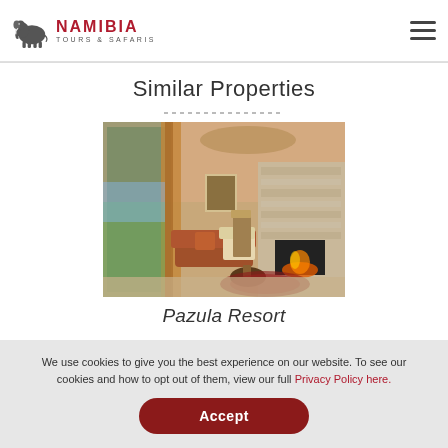Namibia Tours & Safaris
Similar Properties
[Figure (photo): Hotel room interior with warm tones, fireplace, lounge chair, and balcony door showing outdoor view]
Pazula Resort
We use cookies to give you the best experience on our website. To see our cookies and how to opt out of them, view our full Privacy Policy here.
Accept